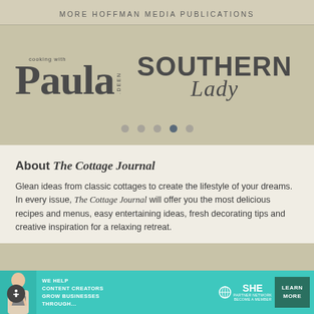MORE HOFFMAN MEDIA PUBLICATIONS
[Figure (logo): Cooking with Paula Deen magazine logo]
[Figure (logo): Southern Lady magazine logo]
About The Cottage Journal
Glean ideas from classic cottages to create the lifestyle of your dreams. In every issue, The Cottage Journal will offer you the most delicious recipes and menus, easy entertaining ideas, fresh decorating tips and creative inspiration for a relaxing retreat.
[Figure (infographic): SHE Media partner network advertisement banner: WE HELP CONTENT CREATORS GROW BUSINESSES THROUGH... with LEARN MORE button]